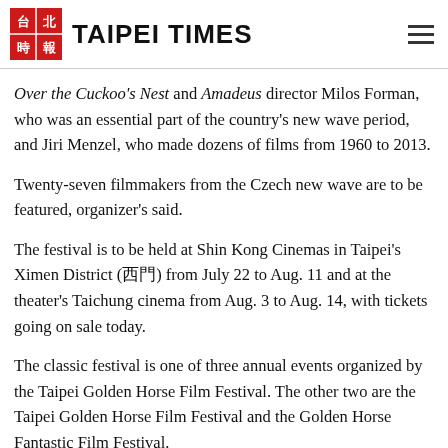TAIPEI TIMES
Over the Cuckoo's Nest and Amadeus director Milos Forman, who was an essential part of the country's new wave period, and Jiri Menzel, who made dozens of films from 1960 to 2013.
Twenty-seven filmmakers from the Czech new wave are to be featured, organizer's said.
The festival is to be held at Shin Kong Cinemas in Taipei's Ximen District (西門) from July 22 to Aug. 11 and at the theater's Taichung cinema from Aug. 3 to Aug. 14, with tickets going on sale today.
The classic festival is one of three annual events organized by the Taipei Golden Horse Film Festival. The other two are the Taipei Golden Horse Film Festival and the Golden Horse Fantastic Film Festival.